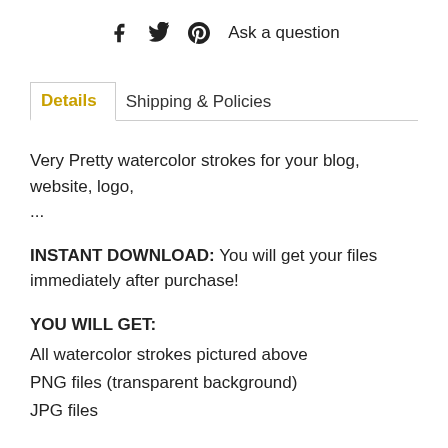f  ♥  p  Ask a question
Details | Shipping & Policies
Very Pretty watercolor strokes for your blog, website, logo, ...
INSTANT DOWNLOAD: You will get your files immediately after purchase!
YOU WILL GET:
All watercolor strokes pictured above
PNG files (transparent background)
JPG files